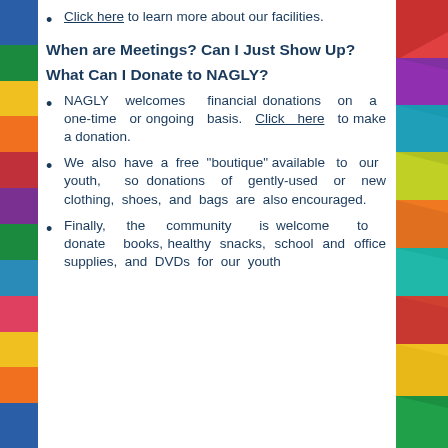Click here to learn more about our facilities.
When are Meetings?  Can I Just Show Up?
What Can I Donate to NAGLY?
NAGLY welcomes financial donations on a one-time or ongoing basis. Click here to make a donation.
We also have a free "boutique" available to our youth, so donations of gently-used or new clothing, shoes, and bags are also encouraged.
Finally, the community is welcome to donate books, healthy snacks, school and office supplies, and DVDs for our youth